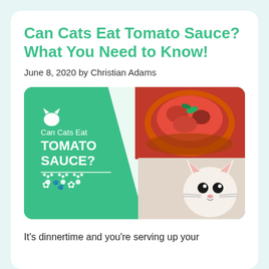Can Cats Eat Tomato Sauce? What You Need to Know!
June 8, 2020 by Christian Adams
[Figure (illustration): Decorative banner image with green background showing a bowl of tomato sauce on the left and a white cat on the right, overlaid with white text 'Can Cats Eat Tomato Sauce?' and a white cat icon, paw print decorations, and a diagonal white divider.]
It's dinnertime and you're serving up your